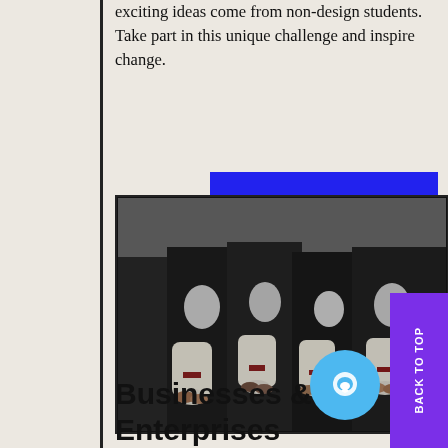exciting ideas come from non-design students. Take part in this unique challenge and inspire change.
[Figure (photo): Black and white photograph of graduates in dark robes holding rolled diplomas tied with red ribbons, multiple hands visible holding certificates.]
Businesses & Enterprises